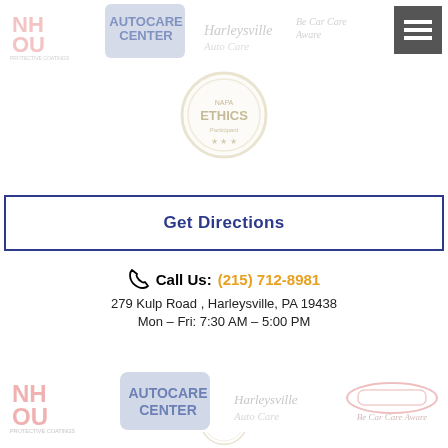[Figure (logo): Top row of partner logos: NH OU Protective Coatings, NAPA AutoCare Center, and other automotive brand logos]
[Figure (logo): Hamburger menu icon (three white lines on dark gray background)]
[Figure (illustration): Circular ethics badge/seal with text ETHICS and stars]
Get Directions
Call Us: (215) 712-8981
279 Kulp Road , Harleysville, PA 19438
Mon – Fri: 7:30 AM – 5:00 PM
[Figure (logo): Bottom row of partner logos: NH OU Protective Coatings, NAPA AutoCare Center, and other automotive brand logos, same as top]
[Figure (illustration): Partial circular ethics badge at very bottom of page]